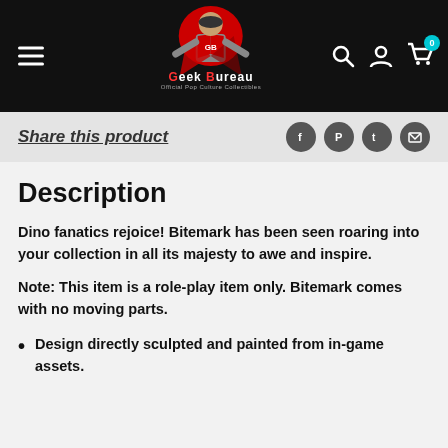Geek Bureau — Official Pop Culture Collectibles
Share this product
Description
Dino fanatics rejoice! Bitemark has been seen roaring into your collection in all its majesty to awe and inspire.
Note: This item is a role-play item only. Bitemark comes with no moving parts.
Design directly sculpted and painted from in-game assets.